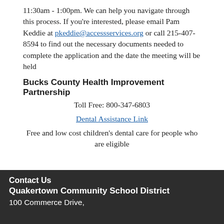11:30am - 1:00pm. We can help you navigate through this process. If you're interested, please email Pam Keddie at pkeddie@accessservices.org or call 215-407-8594 to find out the necessary documents needed to complete the application and the date the meeting will be held
Bucks County Health Improvement Partnership
Toll Free: 800-347-6803
Dental Assistance Link
Free and low cost children's dental care for people who are eligible
Contact Us
Quakertown Community School District
100 Commerce Drive,